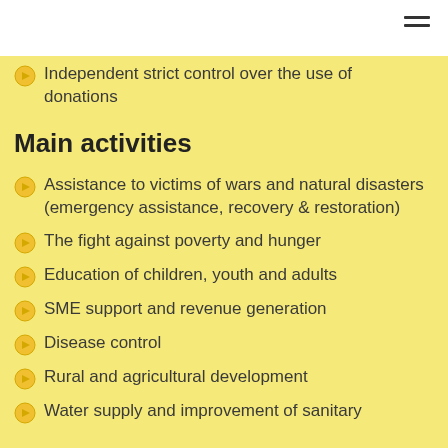Independent strict control over the use of donations
Main activities
Assistance to victims of wars and natural disasters (emergency assistance, recovery & restoration)
The fight against poverty and hunger
Education of children, youth and adults
SME support and revenue generation
Disease control
Rural and agricultural development
Water supply and improvement of sanitary